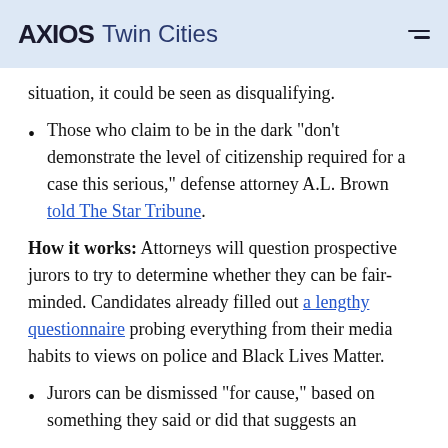AXIOS Twin Cities
situation, it could be seen as disqualifying.
Those who claim to be in the dark "don't demonstrate the level of citizenship required for a case this serious," defense attorney A.L. Brown told The Star Tribune.
How it works: Attorneys will question prospective jurors to try to determine whether they can be fair-minded. Candidates already filled out a lengthy questionnaire probing everything from their media habits to views on police and Black Lives Matter.
Jurors can be dismissed "for cause," based on something they said or did that suggests an